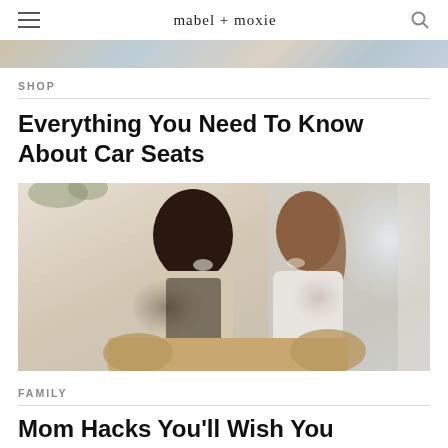mabel + moxie
[Figure (photo): Hero banner image strip at top of page]
SHOP
Everything You Need To Know About Car Seats
[Figure (photo): Two women laughing together at a cafe table, one with curly dark hair and one with straight brown hair]
FAMILY
Mom Hacks You'll Wish You